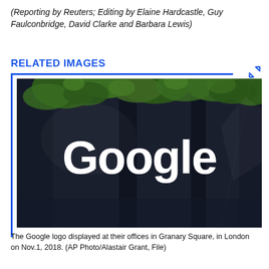(Reporting by Reuters; Editing by Elaine Hardcastle, Guy Faulconbridge, David Clarke and Barbara Lewis)
RELATED IMAGES
[Figure (photo): The Google logo illuminated in white on a dark glass surface, surrounded by green foliage, at their offices in Granary Square, London.]
The Google logo displayed at their offices in Granary Square, in London on Nov.1, 2018. (AP Photo/Alastair Grant, File)